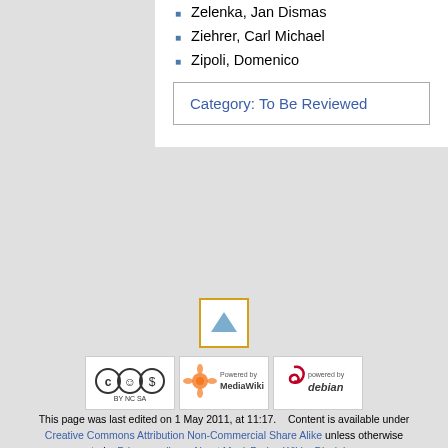Zelenka, Jan Dismas
Ziehrer, Carl Michael
Zipoli, Domenico
Category: To Be Reviewed
[Figure (other): Back to top arrow button with orange border]
[Figure (logo): Creative Commons Attribution Non-Commercial Share Alike logo]
[Figure (logo): Powered by MediaWiki logo]
[Figure (logo): Powered by Debian logo]
This page was last edited on 1 May 2011, at 11:17.    Content is available under Creative Commons Attribution Non-Commercial Share Alike unless otherwise noted.   Privacy policy   About MusicBrainz Wiki   Disclaimers